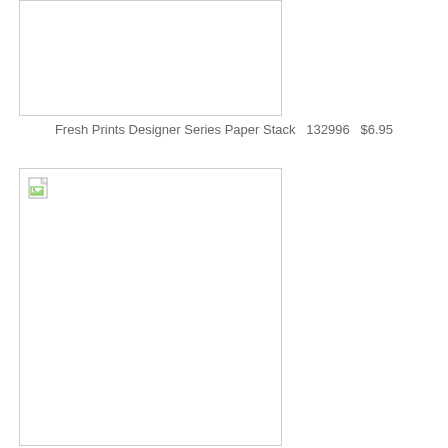[Figure (other): Empty product image placeholder box (top) with border]
Fresh Prints Designer Series Paper Stack  132996  $6.95
[Figure (other): Product image placeholder box (bottom) with broken image icon in top-left corner]